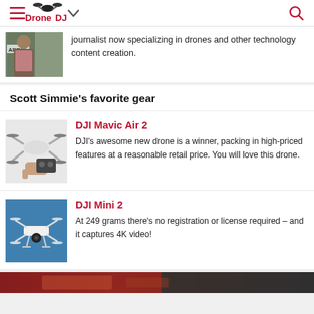DroneDJ
journalist now specializing in drones and other technology content creation.
Scott Simmie's favorite gear
DJI Mavic Air 2
DJI's awesome new drone is a winner, packing in high-priced features at a reasonable retail price. You will love this drone.
DJI Mini 2
At 249 grams there's no registration or license required – and it captures 4K video!